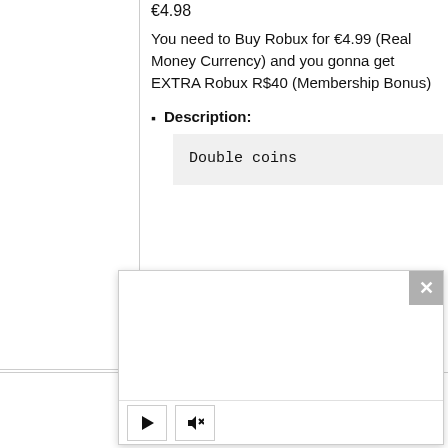€4.98
You need to Buy Robux for €4.99 (Real Money Currency) and you gonna get EXTRA Robux R$40 (Membership Bonus)
Description:
Double coins
[Figure (screenshot): Video player modal overlay with close button (×), empty white video area, play button and mute/speaker-off button controls at the bottom]
Type: